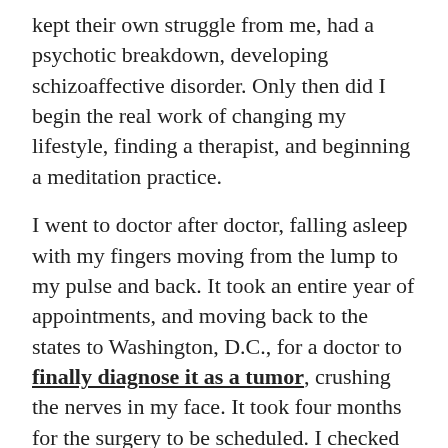kept their own struggle from me, had a psychotic breakdown, developing schizoaffective disorder. Only then did I begin the real work of changing my lifestyle, finding a therapist, and beginning a meditation practice.
I went to doctor after doctor, falling asleep with my fingers moving from the lump to my pulse and back. It took an entire year of appointments, and moving back to the states to Washington, D.C., for a doctor to finally diagnose it as a tumor, crushing the nerves in my face. It took four months for the surgery to be scheduled. I checked my pulse compulsively and drank even more. It was my perfect, quiet hell. And on a dark, winding road several months after my surgery, I begged the driver to stop—I was having a heart attack. But of course, I wasn't. That was just the first of what